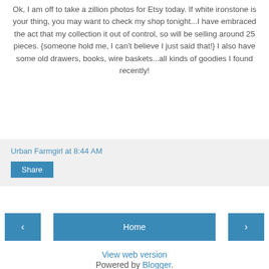Ok, I am off to take a zillion photos for Etsy today. If white ironstone is your thing, you may want to check my shop tonight...I have embraced the act that my collection it out of control, so will be selling around 25 pieces. {someone hold me, I can't believe I just said that!} I also have some old drawers, books, wire baskets...all kinds of goodies I found recently!
Urban Farmgirl at 8:44 AM
Share
Home
View web version
Powered by Blogger.